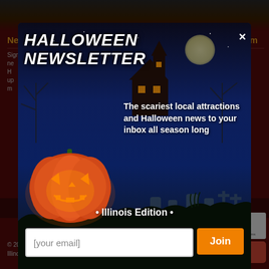[Figure (screenshot): Screenshot of IllinoisHauntedHouses.com website footer with dark red background, showing Newsletter and About sections partially visible behind a modal popup]
Newsletter
About IllinoisHauntedHouses.com
Sign up for our ne... H... up m...
Founded in 2011, IllinoisHauntedHouses.com is a
[Figure (infographic): Halloween Newsletter modal popup with spooky graveyard scene, glowing jack-o-lantern pumpkin, full moon, haunted house silhouette, and dark blue night sky background]
HALLOWEEN NEWSLETTER
The scariest local attractions and Halloween news to your inbox all season long
• Illinois Edition •
[your email]
Join
Haunt Fans:  Log In  •  Sign Up
© 2011-2022 IllinoisHauntedHouses.com. All rights reserved.
Illinois's Halloween Entertainment Guide™